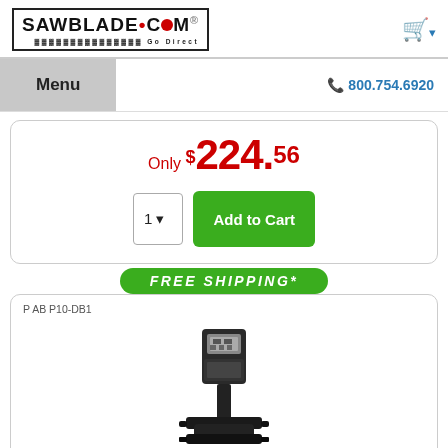[Figure (logo): SAWBLADE.COM Go Direct logo in a bordered box]
Menu
800.754.6920
Only $224.56
Add to Cart
FREE SHIPPING*
P AB P10-DB1
[Figure (photo): Coolant pump product image - black industrial coolant pump]
Coolant Pump (1/8 Hp)